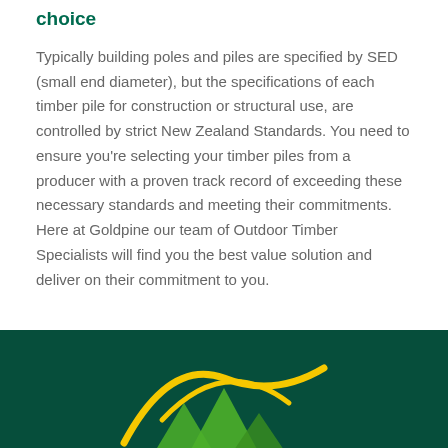choice
Typically building poles and piles are specified by SED (small end diameter), but the specifications of each timber pile for construction or structural use, are controlled by strict New Zealand Standards. You need to ensure you're selecting your timber piles from a producer with a proven track record of exceeding these necessary standards and meeting their commitments. Here at Goldpine our team of Outdoor Timber Specialists will find you the best value solution and deliver on their commitment to you.
[Figure (logo): Goldpine logo — yellow and green emblem on dark green background, partially visible at bottom of page]